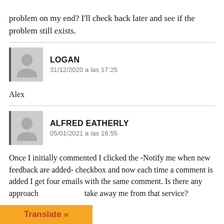problem on my end? I'll check back later and see if the problem still exists.
LOGAN
31/12/2020 a las 17:25
Alex
ALFRED EATHERLY
05/01/2021 a las 16:55
Once I initially commented I clicked the -Notify me when new feedback are added- checkbox and now each time a comment is added I get four emails with the same comment. Is there any approach take away me from that service?